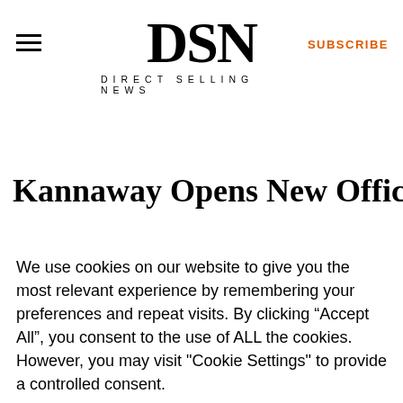DSN DIRECT SELLING NEWS
Kannaway Opens New Office And
We use cookies on our website to give you the most relevant experience by remembering your preferences and repeat visits. By clicking “Accept All”, you consent to the use of ALL the cookies. However, you may visit "Cookie Settings" to provide a controlled consent.